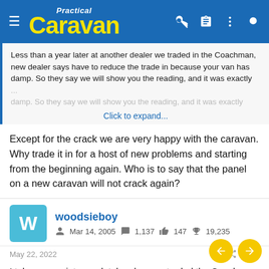Practical Caravan
Less than a year later at another dealer we traded in the Coachman, new dealer says have to reduce the trade in because your van has damp. So they say we will show you the reading, and it was exactly
Click to expand...
Except for the crack we are very happy with the caravan. Why trade it in for a host of new problems and starting from the beginning again. Who is to say that the panel on a new caravan will not crack again?
woodsieboy
Mar 14, 2005  1,137  147  19,235
May 22, 2022  #204
I take your point completely, when we traded the Coachman we went for a Lunar, first service cracked rear panel discovered, put in a